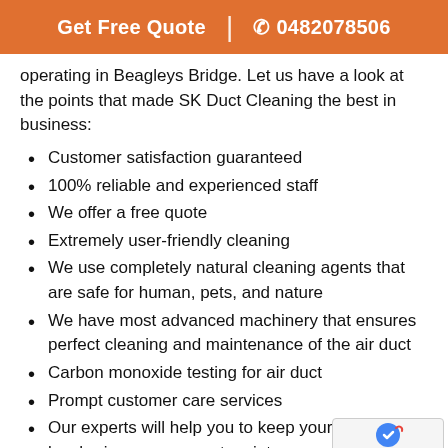Get Free Quote  |  0482078506
operating in Beagleys Bridge. Let us have a look at the points that made SK Duct Cleaning the best in business:
Customer satisfaction guaranteed
100% reliable and experienced staff
We offer a free quote
Extremely user-friendly cleaning
We use completely natural cleaning agents that are safe for human, pets, and nature
We have most advanced machinery that ensures perfect cleaning and maintenance of the air duct
Carbon monoxide testing for air duct
Prompt customer care services
Our experts will help you to keep your duct clean by sharing some expert maintenance tips